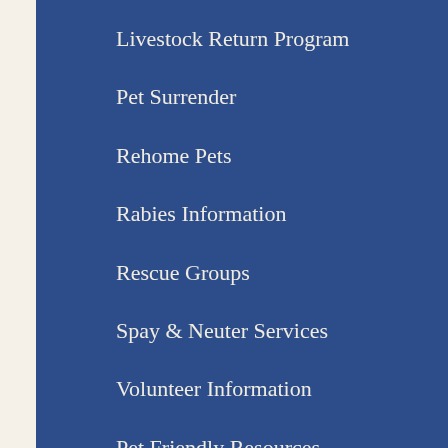Livestock Return Program
Pet Surrender
Rehome Pets
Rabies Information
Rescue Groups
Spay & Neuter Services
Volunteer Information
Pet Friendly Resources
Animal Shelter Wish List/Enrichment Programs